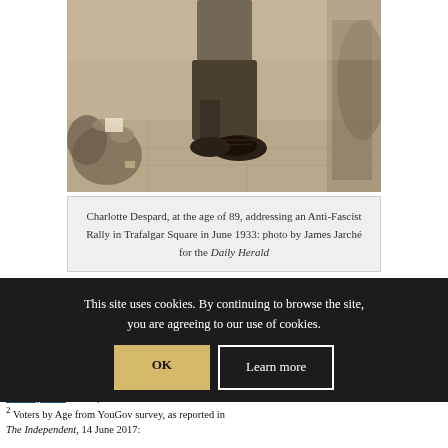[Figure (photo): Black and white historical photograph showing lower body of a person standing on a pavement, with other people seated around them, taken at an Anti-Fascist Rally.]
Charlotte Despard, at the age of 89, addressing an Anti-Fascist Rally in Trafalgar Square in June 1933: photo by James Jarché for the Daily Herald
This site uses cookies. By continuing to browse the site, you are agreeing to our use of cookies.
4 P.J. Corfield, 'Who Cares? Getting People to Vote', Monthly BLO... 2017).
2 Voters by Age from YouGov survey, as reported in The Independent, 14 June 2017: